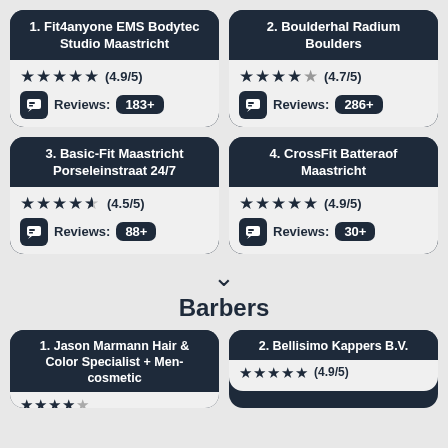[Figure (infographic): Card for 1. Fit4anyone EMS Bodytec Studio Maastricht, 4.9/5 stars, 183+ reviews]
[Figure (infographic): Card for 2. Boulderhal Radium Boulders, 4.7/5 stars, 286+ reviews]
[Figure (infographic): Card for 3. Basic-Fit Maastricht Porseleinstraat 24/7, 4.5/5 stars, 88+ reviews]
[Figure (infographic): Card for 4. CrossFit Batteraof Maastricht, 4.9/5 stars, 30+ reviews]
Barbers
[Figure (infographic): Card for 1. Jason Marmann Hair & Color Specialist + Men-cosmetic (partially visible)]
[Figure (infographic): Card for 2. Bellisimo Kappers B.V., 4.9/5 stars (partially visible)]